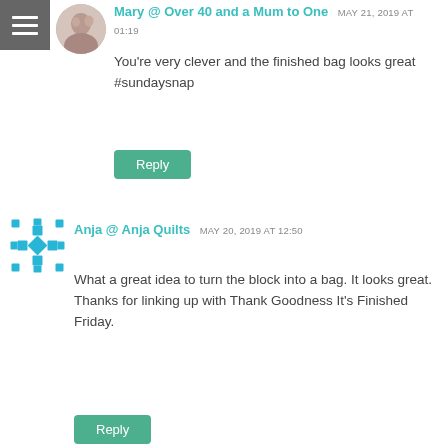Mary @ Over 40 and a Mum to One  MAY 21, 2019 AT 01:19
You're very clever and the finished bag looks great #sundaysnap
Reply
Anja @ Anja Quilts  MAY 20, 2019 AT 12:50
What a great idea to turn the block into a bag. It looks great. Thanks for linking up with Thank Goodness It's Finished Friday.
Reply